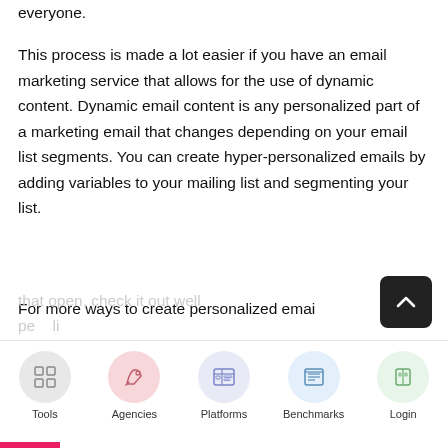everyone.
This process is made a lot easier if you have an email marketing service that allows for the use of dynamic content. Dynamic email content is any personalized part of a marketing email that changes depending on your email list segments. You can create hyper-personalized emails by adding variables to your mailing list and segmenting your list.
For more ways to create personalized emai
that open, check it out well pe li
[Figure (other): Navigation bar with icons for Tools, Agencies, Platforms, Benchmarks, Login]